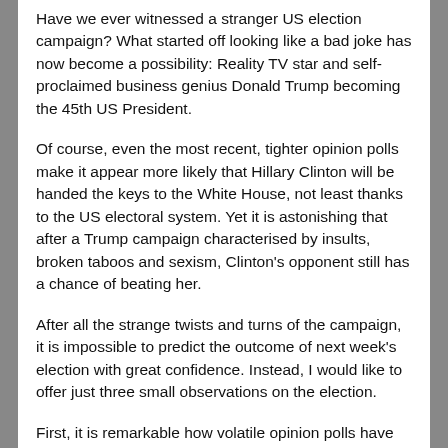Have we ever witnessed a stranger US election campaign? What started off looking like a bad joke has now become a possibility: Reality TV star and self-proclaimed business genius Donald Trump becoming the 45th US President.
Of course, even the most recent, tighter opinion polls make it appear more likely that Hillary Clinton will be handed the keys to the White House, not least thanks to the US electoral system. Yet it is astonishing that after a Trump campaign characterised by insults, broken taboos and sexism, Clinton's opponent still has a chance of beating her.
After all the strange twists and turns of the campaign, it is impossible to predict the outcome of next week's election with great confidence. Instead, I would like to offer just three small observations on the election.
First, it is remarkable how volatile opinion polls have been throughout the campaign. From a nationwide...